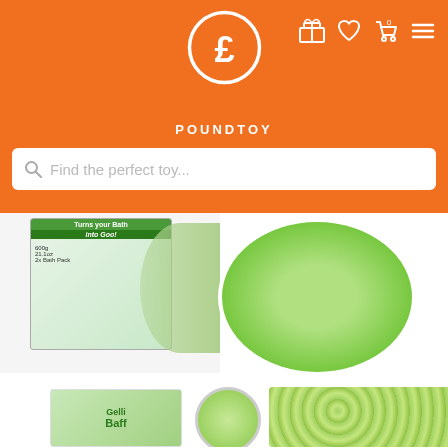[Figure (logo): PoundToy website header with orange background, pound sign logo circle, navigation icons (gift, heart, cart with 0, menu), and POUNDTOY text]
Find the perfect toy...
[Figure (photo): Main product image showing Gelli Baff bath product box and child in green goo-filled bathtub]
[Figure (photo): Two thumbnail images: left shows Gelli Baff product box with circular inset of child in bath, right shows close-up of baby in green gelli baff]